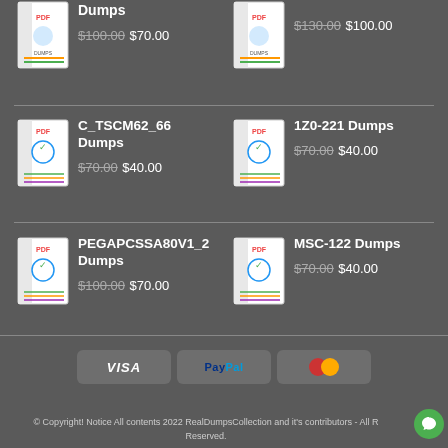[Figure (illustration): PDF book icon for Dumps product (top left, partially visible)]
Dumps
$100.00 $70.00
[Figure (illustration): PDF book icon for Dumps product (top right, partially visible)]
$130.00 $100.00
[Figure (illustration): PDF book icon for C_TSCM62_66 Dumps]
C_TSCM62_66 Dumps
$70.00 $40.00
[Figure (illustration): PDF book icon for 1Z0-221 Dumps]
1Z0-221 Dumps
$70.00 $40.00
[Figure (illustration): PDF book icon for PEGAPCSSA80V1_2 Dumps]
PEGAPCSSA80V1_2 Dumps
$100.00 $70.00
[Figure (illustration): PDF book icon for MSC-122 Dumps]
MSC-122 Dumps
$70.00 $40.00
[Figure (logo): VISA payment icon]
[Figure (logo): PayPal payment icon]
[Figure (logo): MasterCard payment icon]
© Copyright! Notice All contents 2022 RealDumpsCollection and it's contributors - All Rights Reserved.